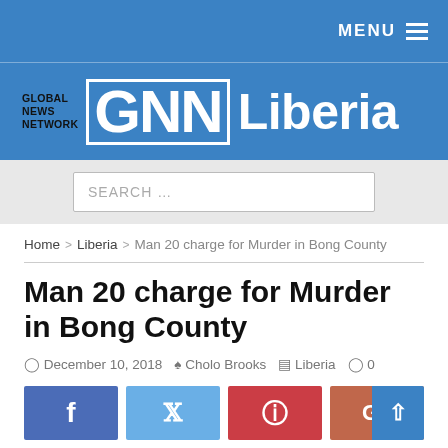MENU
[Figure (logo): Global News Network GNN Liberia logo on blue background]
SEARCH ...
Home > Liberia > Man 20 charge for Murder in Bong County
Man 20 charge for Murder in Bong County
December 10, 2018   Cholo Brooks   Liberia   0
[Figure (infographic): Social share buttons: Facebook (f), Twitter (bird), Pinterest (P), Google+ (G+), and back-to-top button]